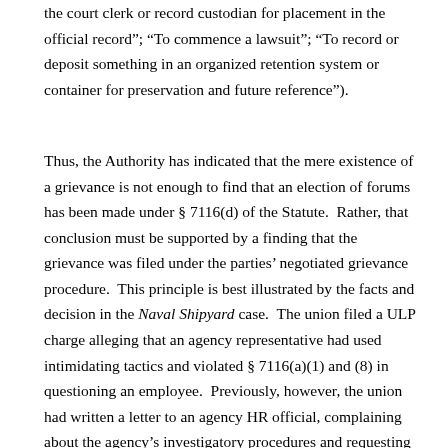the court clerk or record custodian for placement in the official record"; "To commence a lawsuit"; "To record or deposit something in an organized retention system or container for preservation and future reference").
Thus, the Authority has indicated that the mere existence of a grievance is not enough to find that an election of forums has been made under § 7116(d) of the Statute. Rather, that conclusion must be supported by a finding that the grievance was filed under the parties' negotiated grievance procedure. This principle is best illustrated by the facts and decision in the Naval Shipyard case. The union filed a ULP charge alleging that an agency representative had used intimidating tactics and violated § 7116(a)(1) and (8) in questioning an employee. Previously, however, the union had written a letter to an agency HR official, complaining about the agency's investigatory procedures and requesting that a union-management meeting be held to discuss the problem. The